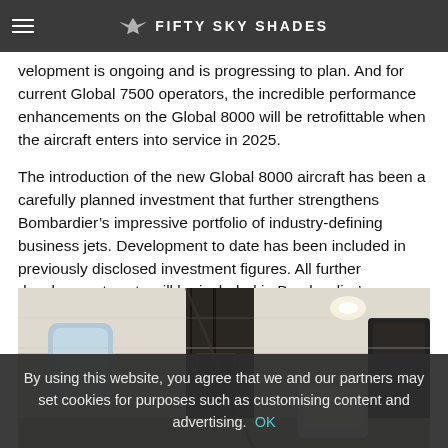FIFTY SKY SHADES
velopment is ongoing and is progressing to plan. And for current Global 7500 operators, the incredible performance enhancements on the Global 8000 will be retrofittable when the aircraft enters into service in 2025.
The introduction of the new Global 8000 aircraft has been a carefully planned investment that further strengthens Bombardier’s impressive portfolio of industry-defining business jets. Development to date has been included in previously disclosed investment figures. All further development costs will be included in Bombardier’s capex, which remains in line with its 2025 objectives.
[Figure (photo): Interior of a Bombardier Global 8000 private jet cabin showing cream/beige interior with dark wood divider panel, windows, and seating area]
By using this website, you agree that we and our partners may set cookies for purposes such as customising content and advertising. OK